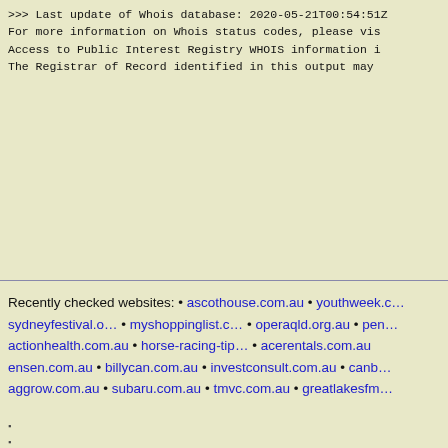>>> Last update of Whois database: 2020-05-21T00:54:51Z
For more information on Whois status codes, please vis
Access to Public Interest Registry WHOIS information i
The Registrar of Record identified in this output may
Recently checked websites: • ascothouse.com.au • youthweek.c... sydneyfestival.o... • myshoppinglist.c... • operaqld.org.au • pen... actionhealth.com.au • horse-racing-tip... • acerentals.com.au ensen.com.au • billycan.com.au • investconsult.com.au • canb aggrow.com.au • subaru.com.au • tmvc.com.au • greatlakesfm...
•
•